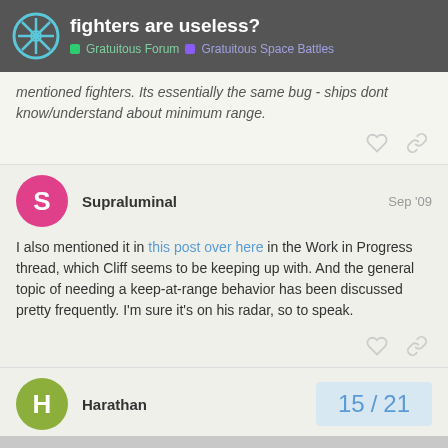fighters are useless? | Gratuitous Forum | Gratuitous Space Battles
mentioned fighters. Its essentially the same bug - ships dont know/understand about minimum range.
I also mentioned it in this post over here in the Work in Progress thread, which Cliff seems to be keeping up with. And the general topic of needing a keep-at-range behavior has been discussed pretty frequently. I'm sure it's on his radar, so to speak.
Supraluminal   Sep '09
Harathan
15 / 21